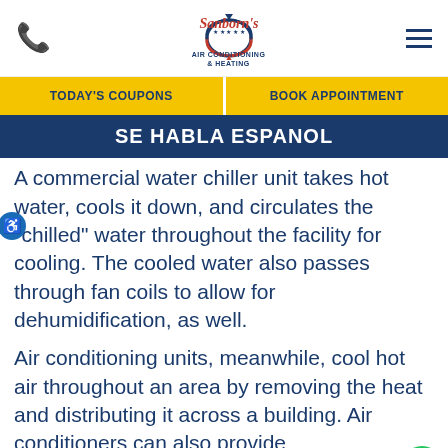Sanborn's Air Conditioning & Heating — navigation header with phone icon, logo, and hamburger menu
TODAY'S COUPONS
BOOK APPOINTMENT
SE HABLA ESPANOL
A commercial water chiller unit takes hot water, cools it down, and circulates the "chilled" water throughout the facility for cooling. The cooled water also passes through fan coils to allow for dehumidification, as well.
Air conditioning units, meanwhile, cool hot air throughout an area by removing the heat and distributing it across a building. Air conditioners can also provide dehumidification